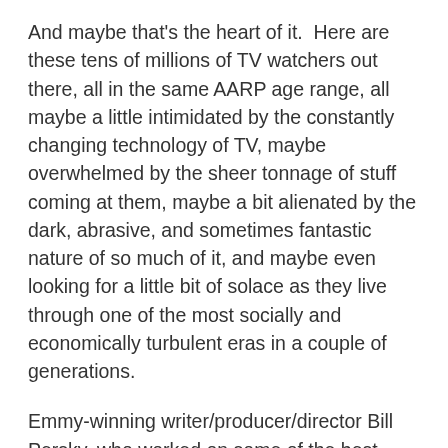And maybe that's the heart of it.  Here are these tens of millions of TV watchers out there, all in the same AARP age range, all maybe a little intimidated by the constantly changing technology of TV, maybe overwhelmed by the sheer tonnage of stuff coming at them, maybe a bit alienated by the dark, abrasive, and sometimes fantastic nature of so much of it, and maybe even looking for a little bit of solace as they live through one of the most socially and economically turbulent eras in a couple of generations.
Emmy-winning writer/producer/director Bill Persky, who worked on some of the best shows of that long ago era, says:
I think the oldies still work because they are safe and a visit to a better time.  There were more obviously good and bad people, no shading that made you think...and,